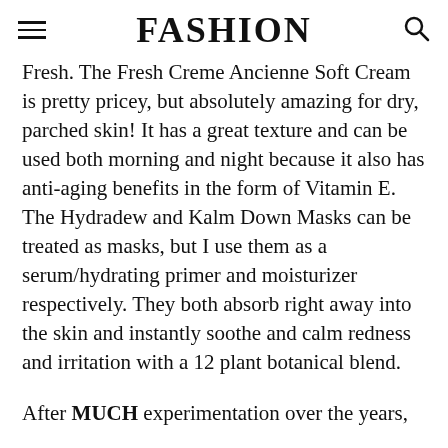FASHION
Fresh. The Fresh Creme Ancienne Soft Cream is pretty pricey, but absolutely amazing for dry, parched skin! It has a great texture and can be used both morning and night because it also has anti-aging benefits in the form of Vitamin E. The Hydradew and Kalm Down Masks can be treated as masks, but I use them as a serum/hydrating primer and moisturizer respectively. They both absorb right away into the skin and instantly soothe and calm redness and irritation with a 12 plant botanical blend.
After MUCH experimentation over the years,